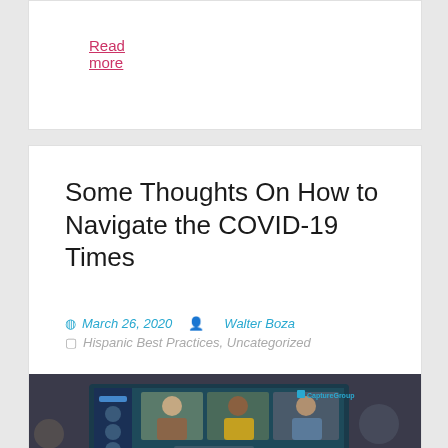Read more
Some Thoughts On How to Navigate the COVID-19 Times
March 26, 2020   Walter Boza
Hispanic Best Practices, Uncategorized
[Figure (photo): Person typing on laptop showing a video conference call with multiple participants, with a CaptureGroup logo visible in the upper right of the screen. A coffee cup is visible in the background.]